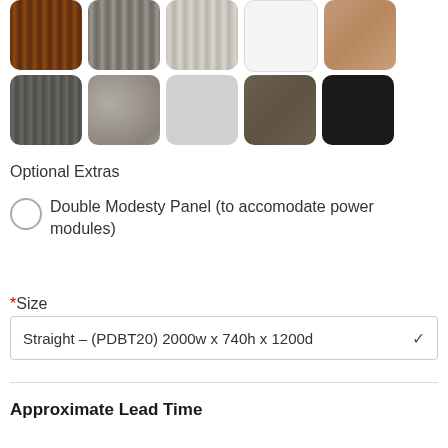[Figure (other): Two rows of material/color swatches: top row has walnut wood, grey wood, light grey wood, white, and tan; bottom row has dark grey wood, concrete, light silver, brown-dark, and black.]
Optional Extras
Double Modesty Panel (to accomodate power modules) £69.00
*Size
Straight – (PDBT20) 2000w x 740h x 1200d
Approximate Lead Time